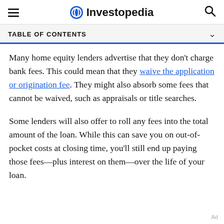Investopedia
TABLE OF CONTENTS
Many home equity lenders advertise that they don't charge bank fees. This could mean that they waive the application or origination fee. They might also absorb some fees that cannot be waived, such as appraisals or title searches.
Some lenders will also offer to roll any fees into the total amount of the loan. While this can save you on out-of-pocket costs at closing time, you'll still end up paying those fees—plus interest on them—over the life of your loan.
Ad